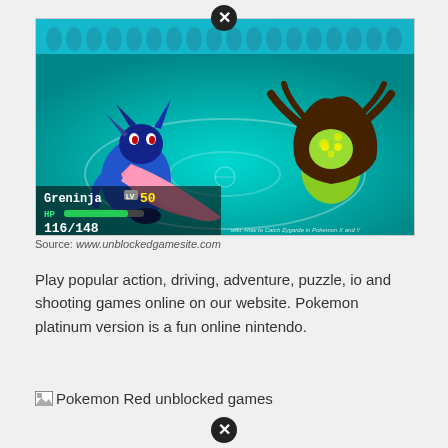[Figure (screenshot): Pokemon battle screenshot showing Greninja (blue ninja frog pokemon) vs Zygarde (brown tree-like pokemon) in a teal arena. HUD shows Greninja at Lv50 with HP 116/148.]
Source: www.unblockedgamesite.com
Play popular action, driving, adventure, puzzle, io and shooting games online on our website. Pokemon platinum version is a fun online nintendo.
Pokemon Red unblocked games